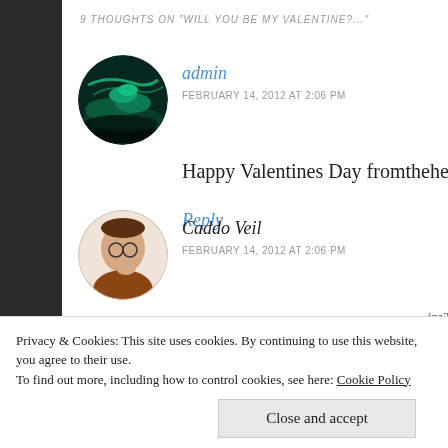9 THOUGHTS ON "WILL YOU BE MY VALENTINE?..."
admin
FEBRUARY 14, 2012 AT 2:06 PM
Happy Valentines Day fromtheheartof! Thank yo
Reply
Caddo Veil
FEBRUARY 14, 2012 AT 2:06 PM
Privacy & Cookies: This site uses cookies. By continuing to use this website, you agree to their use.
To find out more, including how to control cookies, see here: Cookie Policy
Close and accept